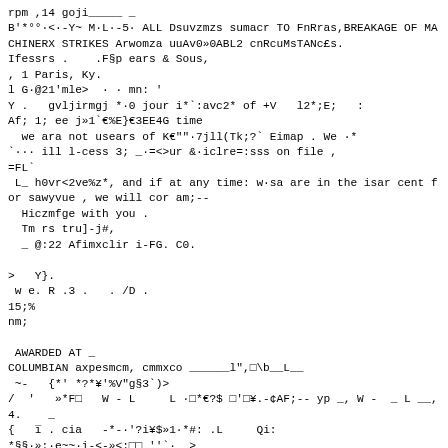rpm ,14 goji_____ _
B'*°°·<·-Y~ M·L·-5· ALL Dsuvzmzs sumacr TO FnRras,BREAKAGE OF MACHINERX STRIKES Arwomza uuAv0»0ABL2 cnRcuMsTANc£s.
Ifessrs .    .F§p ears & Sous,
, 1 Paris, Ky.
l G·@21'mle>  · · mn: '
Y .   gvljirmgj *·0 jour i*`:avc2* of +V   l2*;E;   :
Af; 1; ee j»1`€%E}€3EE4G time
  we ara not usears of K€""·7jll(Tk;?` Eimap . We ·*
`··· ill l-cess 3; _·=<>ur &·iclre=:sss on file ,
=FL`
 L_ h0vr<2ve%z*, and if at any time: w·sa are in the isar cent for sawyvue , we will cor am;--
  Hiczmfge with you .
  Tm rs tru]-j#,
  _ @:22 Afimxclir i-FG. C0.

>   Y}.
 w e. R .3 .   . /D .
15;%
nm;

 AWARDED AT _
COLUMBIAN axpesmcm, cmmxco ______l",□\b__L__
 ~-   {*' *?*¥'%V"g§3`)>
/  '   »*F□   W - L     L ·□*€?$ □'□¥.-¢AF;-- yp _, W -  _ L __, 4.    _
{   i   . cia   -*·'?i¥$»1·*#: .L     Qi:
*§§·»;·e~~·i-<-»<;□□ ''`·  >
+·%B}+···}·}}$···    ··  §$···{··"S··Qi·{$%}"·"